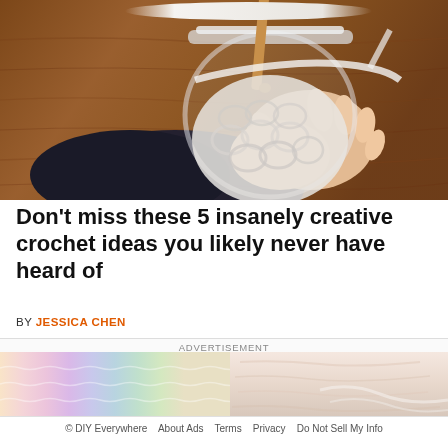[Figure (photo): A hand holding a glass jar being wrapped with white chunky crochet, with a wooden crochet hook visible, on a wooden table background]
Don't miss these 5 insanely creative crochet ideas you likely never have heard of
BY JESSICA CHEN
ADVERTISEMENT
[Figure (photo): Colorful crochet fabric in pastel rainbow stripes (pink, purple, mint, peach) on the left, and a pink ball of yarn on a wooden surface on the right]
© DIY Everywhere   About Ads   Terms   Privacy   Do Not Sell My Info